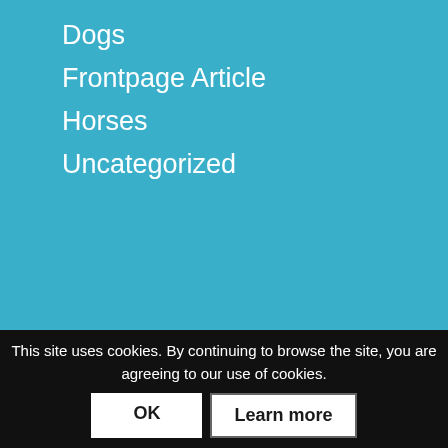Dogs
Frontpage Article
Horses
Uncategorized
[Figure (illustration): Green meadow with daisy flowers background banner]
A+ Pet Sitting, Madison Wisconsin's Leading Pet Sitting and Dog Walking service.
Serving as the go to pet sitter and dog walker for Madison WI, Middleton WI, Fitchburg WI, Monona WI, McFarland WI, Waunakee WI, Cottage Grove WI and Trevor WI.
This site uses cookies. By continuing to browse the site, you are agreeing to our use of cookies.
OK
Learn more
Privacy Policy | Website Design & Development by Sitephoria Inc.